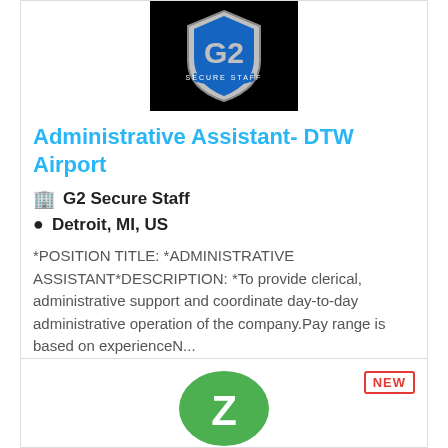[Figure (logo): G2 Secure Staff shield logo on black background]
Administrative Assistant- DTW Airport
G2 Secure Staff
Detroit, MI, US
*POSITION TITLE: *ADMINISTRATIVE ASSISTANT*DESCRIPTION: *To provide clerical, administrative support and coordinate day-to-day administrative operation of the company.Pay range is based on experienceN...
More Details
[Figure (logo): Green circular Z logo (partial, bottom card)]